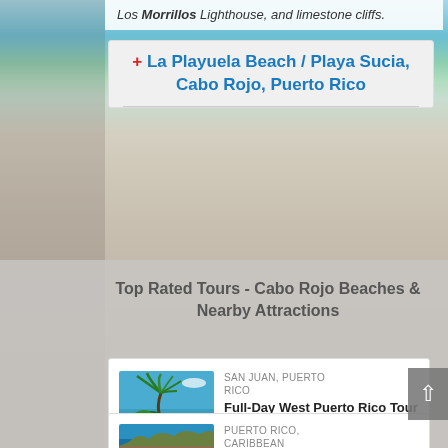Los Morrillos Lighthouse, and limestone cliffs.
+ La Playuela Beach / Playa Sucia, Cabo Rojo, Puerto Rico
Top Rated Tours - Cabo Rojo Beaches & Nearby Attractions
[Figure (photo): Palm tree on a Caribbean beach with blue water and sandy shore]
SAN JUAN, PUERTO RICO
Full-Day West Puerto Rico Tour
★★★★★ 28
$261.61 and up
[Figure (photo): Coastal cliffs and turquoise Caribbean water, Puerto Rico]
PUERTO RICO, CARIBBEAN